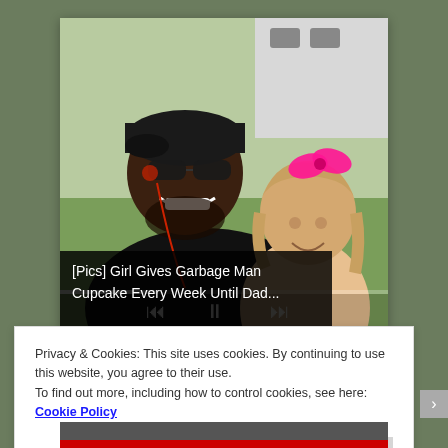[Figure (photo): A man wearing sunglasses and a black cap smiling with a young girl who has a pink bow in her hair, outdoors near a vehicle]
[Pics] Girl Gives Garbage Man Cupcake Every Week Until Dad...
Privacy & Cookies: This site uses cookies. By continuing to use this website, you agree to their use.
To find out more, including how to control cookies, see here: Cookie Policy